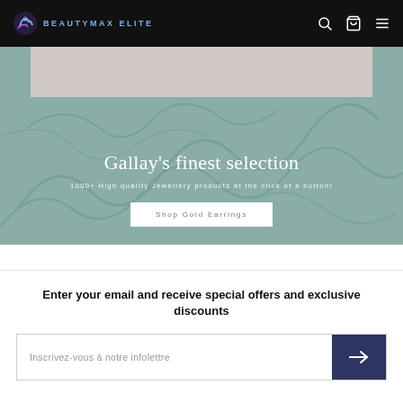BEAUTYMAX ELITE
[Figure (screenshot): Hero banner with muted teal/sage green background, decorative swirl pattern, partial product image at top, title 'Gallay's finest selection', subtitle '1000+ High quality Jewellery products at the click of a button!', and a white 'Shop Gold Earrings' button]
Gallay's finest selection
1000+ High quality Jewellery products at the click of a button!
Enter your email and receive special offers and exclusive discounts
Inscrivez-vous à notre infolettre